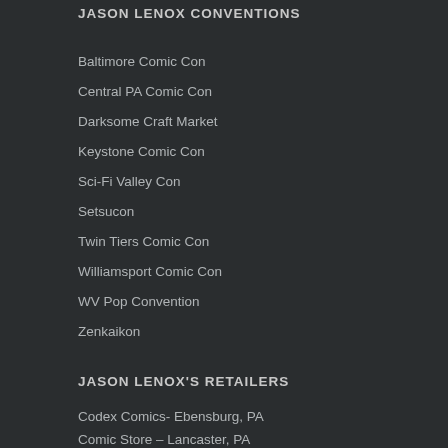JASON LENOX CONVENTIONS
Baltimore Comic Con
Central PA Comic Con
Darksome Craft Market
Keystone Comic Con
Sci-Fi Valley Con
Setsucon
Twin Tiers Comic Con
Williamsport Comic Con
WV Pop Convention
Zenkaikon
JASON LENOX'S RETAILERS
Codex Comics- Ebensburg, PA
Comic Store – Lancaster, PA